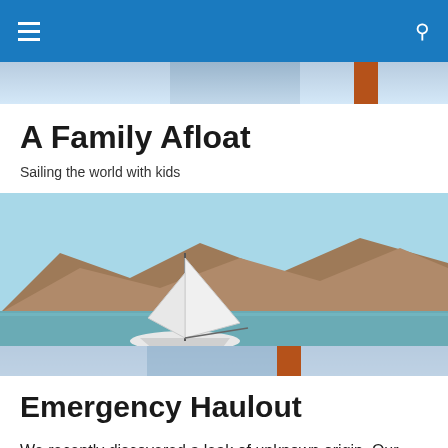A Family Afloat — navigation bar
[Figure (photo): Blue navigation bar with hamburger menu icon on left and search icon on right]
A Family Afloat
Sailing the world with kids
[Figure (photo): A sailboat on calm blue-green water with rugged brown mountains in the background, framed by Golden Gate Bridge decorative strips]
Emergency Haulout
We recently discovered a leak of unknown origin. Our first time discovering it was during our sail up from Chamela to Punta de Mita, of course, during the middle of the night.